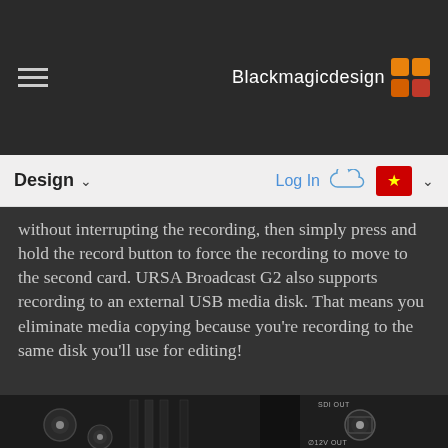Blackmagicdesign
Design
without interrupting the recording, then simply press and hold the record button to force the recording to move to the second card. URSA Broadcast G2 also supports recording to an external USB media disk. That means you eliminate media copying because you're recording to the same disk you'll use for editing!
[Figure (photo): Close-up photograph of camera BNC connector ports on a Blackmagic URSA Broadcast G2 camera, with SDI OUT and 12V OUT labels visible on the right side]